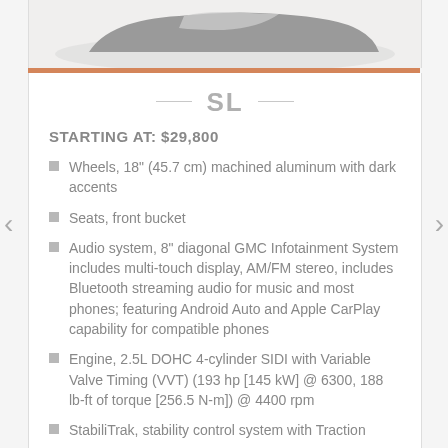[Figure (photo): Partial view of a vehicle (car/SUV) photographed from the side, cropped at top of page]
SL
STARTING AT: $29,800
Wheels, 18" (45.7 cm) machined aluminum with dark accents
Seats, front bucket
Audio system, 8" diagonal GMC Infotainment System includes multi-touch display, AM/FM stereo, includes Bluetooth streaming audio for music and most phones; featuring Android Auto and Apple CarPlay capability for compatible phones
Engine, 2.5L DOHC 4-cylinder SIDI with Variable Valve Timing (VVT) (193 hp [145 kW] @ 6300, 188 lb-ft of torque [256.5 N-m]) @ 4400 rpm
StabiliTrak, stability control system with Traction